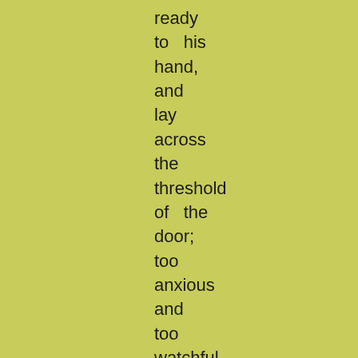ready
to   his
hand,
and
lay
across
the
threshold
of   the
door;
too
anxious
and
too
watchful
to
close
his
eyes